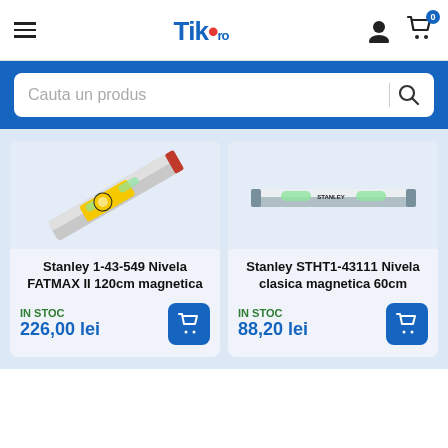Tik.ro — hamburger menu, user icon, cart icon with badge 0
Cauta un produs
[Figure (photo): Stanley 1-43-549 Nivela FATMAX II 120cm magnetica — product image showing a yellow and silver spirit level at an angle]
Stanley 1-43-549 Nivela FATMAX II 120cm magnetica
IN STOC
226,00 lei
[Figure (photo): Stanley STHT1-43111 Nivela clasica magnetica 60cm — product image showing a silver spirit level]
Stanley STHT1-43111 Nivela clasica magnetica 60cm
IN STOC
88,20 lei